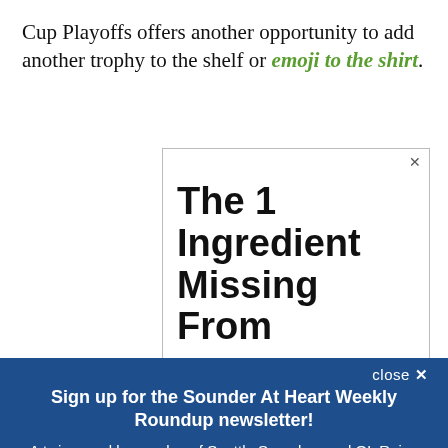Cup Playoffs offers another opportunity to add another trophy to the shelf or emoji to the shirt.
[Figure (screenshot): Advertisement box with large bold text 'The 1 Ingredient Missing From' with an X close button]
close X
Sign up for the Sounder At Heart Weekly Roundup newsletter!
A twice weekly roundup of Seattle Sounders and OL Reign news from Sounder at Heart
Email (required)
SUBSCRIBE
By submitting your email, you agree to our Terms and Privacy Notice. You can opt out at any time. This site is protected by reCAPTCHA and the Google Privacy Policy and Terms of Service apply.